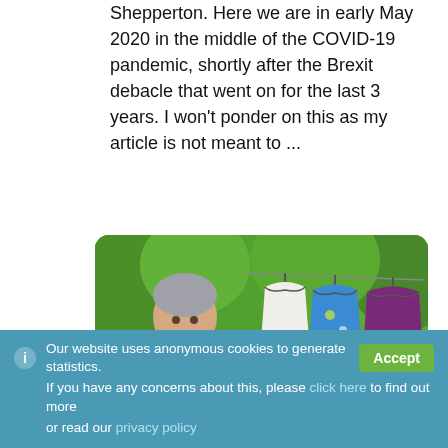Shepperton. Here we are in early May 2020 in the middle of the COVID-19 pandemic, shortly after the Brexit debacle that went on for the last 3 years. I won't ponder on this as my article is not meant to ...
Read more
[Figure (photo): An older woman in a pink t-shirt standing outdoors in a garden, smiling, with clothes hanging on a rack or clothesline behind her. Garments visible include a white item, a blue/green patterned item, and a purple/maroon item. Green trees and vegetation in the background.]
Our website uses anonymous cookies to generate statistics. If you have any concerns about this, please click here to find out more or read our privacy policy